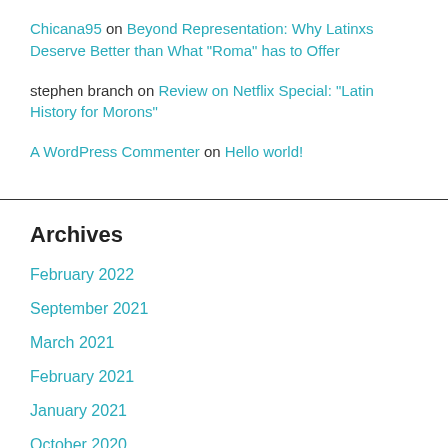Chicana95 on Beyond Representation: Why Latinxs Deserve Better than What "Roma" has to Offer
stephen branch on Review on Netflix Special: "Latin History for Morons"
A WordPress Commenter on Hello world!
Archives
February 2022
September 2021
March 2021
February 2021
January 2021
October 2020